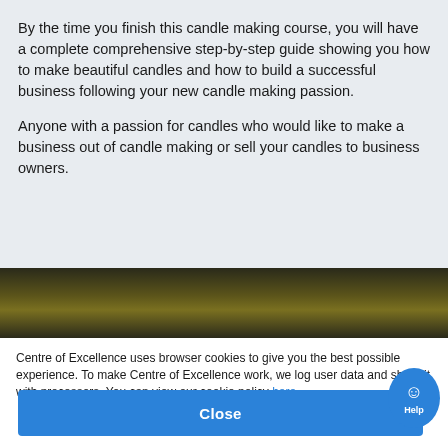By the time you finish this candle making course, you will have a complete comprehensive step-by-step guide showing you how to make beautiful candles and how to build a successful business following your new candle making passion.
Anyone with a passion for candles who would like to make a business out of candle making or sell your candles to business owners.
[Figure (photo): Dark gradient background image, dark green/olive tones, part of a course page banner]
Centre of Excellence uses browser cookies to give you the best possible experience. To make Centre of Excellence work, we log user data and share it with processors. You can view our cookie policy here.
Close